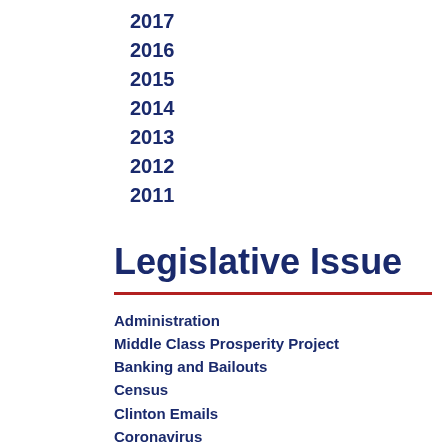2017
2016
2015
2014
2013
2012
2011
Legislative Issue
Administration
Middle Class Prosperity Project
Banking and Bailouts
Census
Clinton Emails
Coronavirus